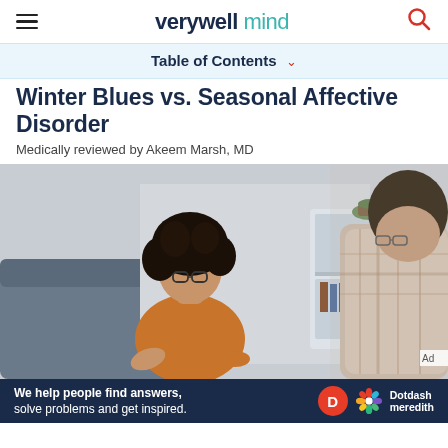verywell mind
Table of Contents
Winter Blues vs. Seasonal Affective Disorder
Medically reviewed by Akeem Marsh, MD
[Figure (photo): Two people in a therapy or counseling session. A woman with curly hair and glasses wearing an orange top sits on a grey couch and appears to be speaking. Across from her, partially visible, is a person in a plaid shirt. A white bookshelf with a plant is visible in the background.]
We help people find answers, solve problems and get inspired.